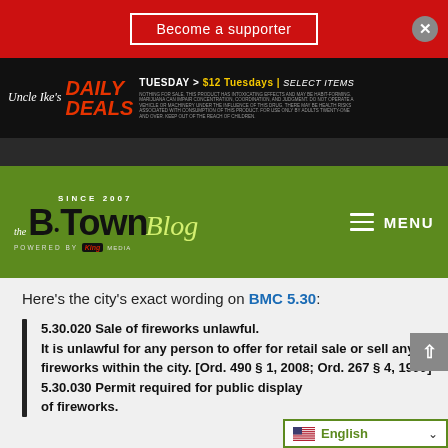Become a supporter
[Figure (screenshot): Uncle Ike's Daily Deals advertisement banner - TUESDAY > $12 Tuesdays | SELECT ITEMS]
[Figure (logo): The B·Town Blog - Since 2007 - Powered by King Media logo on green background with MENU hamburger]
Here's the city's exact wording on BMC 5.30:
5.30.020 Sale of fireworks unlawful.
It is unlawful for any person to offer for retail sale or sell any fireworks within the city. [Ord. 490 § 1, 2008; Ord. 267 § 4, 1999]
5.30.030 Permit required for public display of fireworks.